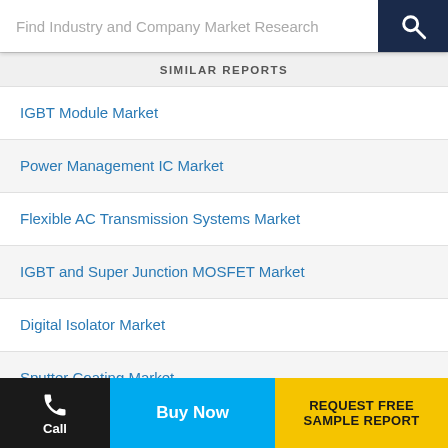Find Industry and Company Market Research
SIMILAR REPORTS
IGBT Module Market
Power Management IC Market
Flexible AC Transmission Systems Market
IGBT and Super Junction MOSFET Market
Digital Isolator Market
Sputter Coating Market
Circuit Protection Market
Power Electronics Market
Call | Buy Now | REQUEST FREE SAMPLE REPORT